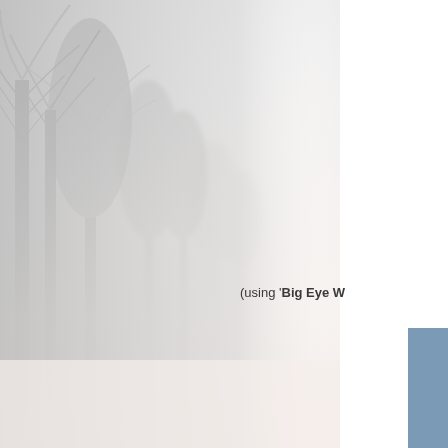[Figure (photo): Snow-covered trees in a foggy winter landscape. A row of bare trees with white frost/snow on their branches lines a misty road, fading into white fog in the distance. The scene is very pale and ethereal, predominantly white and light grey.]
(using 'Big Eye W
[Figure (illustration): A solid blue-grey rectangular block in the bottom-right corner of the page.]